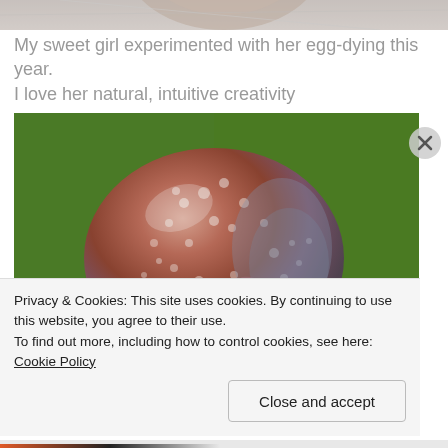[Figure (photo): Partial top of a decorated Easter egg on marble surface, cropped at top of page]
My sweet girl experimented with her egg-dying this year. I love her natural, intuitive creativity
[Figure (photo): Close-up photograph of a decorated Easter egg with mottled reddish-brown, pink, white and blue speckled pattern, resting on a white surface with green background]
Privacy & Cookies: This site uses cookies. By continuing to use this website, you agree to their use.
To find out more, including how to control cookies, see here: Cookie Policy
Close and accept